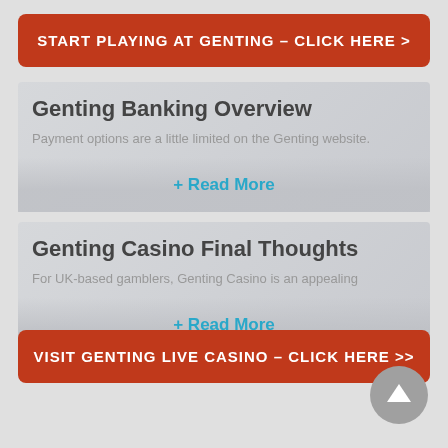START PLAYING AT GENTING – CLICK HERE >
Genting Banking Overview
Payment options are a little limited on the Genting website.
+ Read More
Genting Casino Final Thoughts
For UK-based gamblers, Genting Casino is an appealing
+ Read More
VISIT GENTING LIVE CASINO – CLICK HERE >>